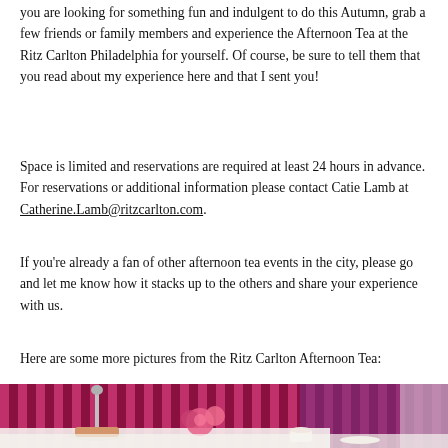you are looking for something fun and indulgent to do this Autumn, grab a few friends or family members and experience the Afternoon Tea at the Ritz Carlton Philadelphia for yourself. Of course, be sure to tell them that you read about my experience here and that I sent you!
Space is limited and reservations are required at least 24 hours in advance. For reservations or additional information please contact Catie Lamb at Catherine.Lamb@ritzcarlton.com.
If you're already a fan of other afternoon tea events in the city, please go and let me know how it stacks up to the others and share your experience with us.
Here are some more pictures from the Ritz Carlton Afternoon Tea:
[Figure (photo): Afternoon tea setting at the Ritz Carlton Philadelphia showing a tiered cake stand with food, pink roses in a vase, tea items on a white tablecloth, against a backdrop of pink and dark striped curtains with purple lighting.]